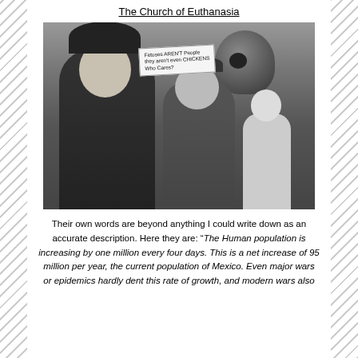The Church of Euthanasia
[Figure (photo): Black and white photograph of protesters. A woman with a bob haircut is shouting in the foreground. Behind her, a man wearing glasses holds a sign reading 'Fetuses AREN'T People they aren't even CHICKENS Who Cares?' and carries a large skull prop. Other people are visible in the background.]
Their own words are beyond anything I could write down as an accurate description. Here they are: “The Human population is increasing by one million every four days. This is a net increase of 95 million per year, the current population of Mexico. Even major wars or epidemics hardly dent this rate of growth, and modern wars also